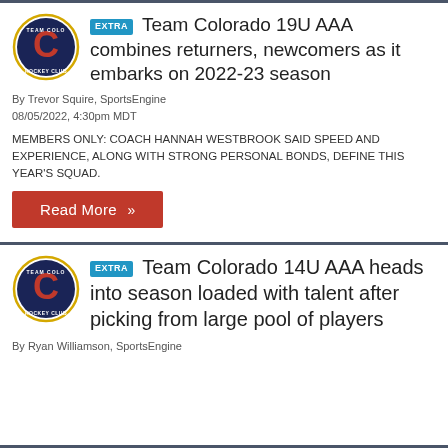Team Colorado 19U AAA combines returners, newcomers as it embarks on 2022-23 season
By Trevor Squire, SportsEngine
08/05/2022, 4:30pm MDT
MEMBERS ONLY: COACH HANNAH WESTBROOK SAID SPEED AND EXPERIENCE, ALONG WITH STRONG PERSONAL BONDS, DEFINE THIS YEAR'S SQUAD.
Read More »
Team Colorado 14U AAA heads into season loaded with talent after picking from large pool of players
By Ryan Williamson, SportsEngine